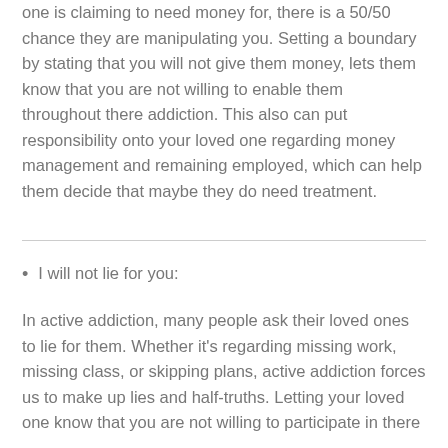one is claiming to need money for, there is a 50/50 chance they are manipulating you. Setting a boundary by stating that you will not give them money, lets them know that you are not willing to enable them throughout there addiction. This also can put responsibility onto your loved one regarding money management and remaining employed, which can help them decide that maybe they do need treatment.
I will not lie for you:
In active addiction, many people ask their loved ones to lie for them. Whether it's regarding missing work, missing class, or skipping plans, active addiction forces us to make up lies and half-truths. Letting your loved one know that you are not willing to participate in there